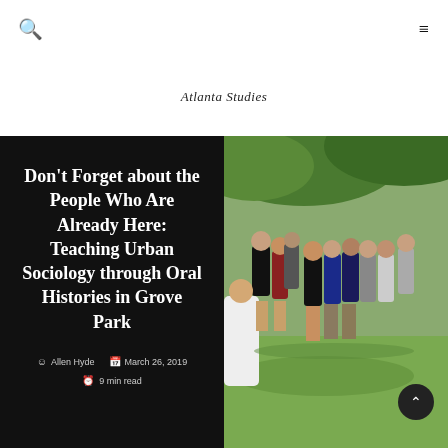Search | Atlanta Studies | Menu
Atlanta Studies
Don't Forget about the People Who Are Already Here: Teaching Urban Sociology through Oral Histories in Grove Park
Allen Hyde  March 26, 2019  9 min read
[Figure (photo): Group of students standing outdoors on grass under trees, with an instructor speaking to them]